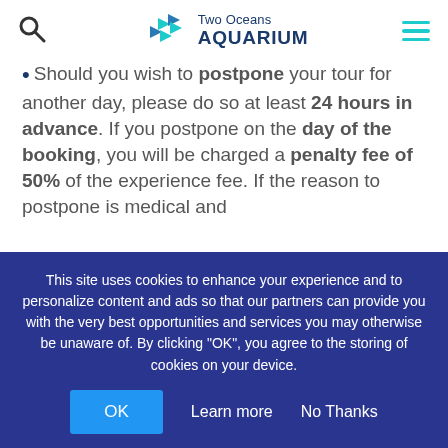Two Oceans AQUARIUM
Should you wish to postpone your tour for another day, please do so at least 24 hours in advance. If you postpone on the day of the booking, you will be charged a penalty fee of 50% of the experience fee. If the reason to postpone is medical and
This site uses cookies to enhance your experience and to personalize content and ads so that our partners can provide you with the very best opportunities and services you may otherwise be unaware of. By clicking "OK", you agree to the storing of cookies on your device.
OK   Learn more   No Thanks